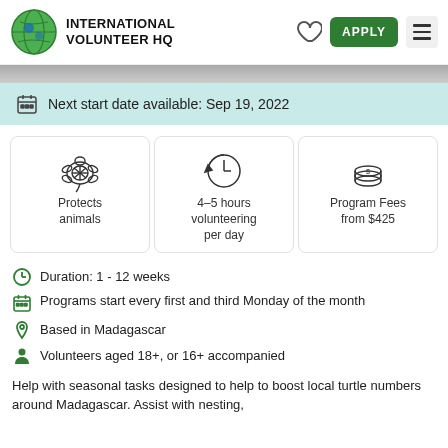INTERNATIONAL VOLUNTEER HQ
Next start date available: Sep 19, 2022
[Figure (infographic): Three info cards: turtle icon 'Protects animals', clock icon '4-5 hours volunteering per day', coins icon 'Program Fees from $425']
Duration: 1 - 12 weeks
Programs start every first and third Monday of the month
Based in Madagascar
Volunteers aged 18+, or 16+ accompanied
Help with seasonal tasks designed to help to boost local turtle numbers around Madagascar. Assist with nesting,